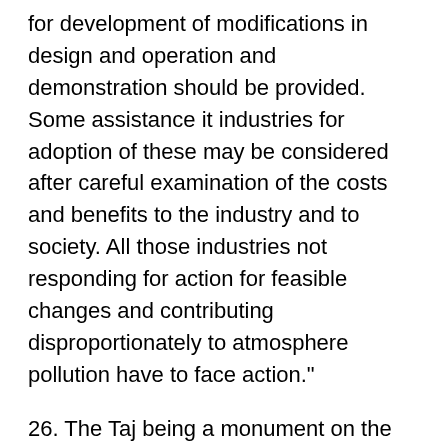for development of modifications in design and operation and demonstration should be provided. Some assistance it industries for adoption of these may be considered after careful examination of the costs and benefits to the industry and to society. All those industries not responding for action for feasible changes and contributing disproportionately to atmosphere pollution have to face action."
26. The Taj being a monument on the World Heritage List, the Government of India sought the expert advice through UNESCO on the structural and chemical preservation aspects of the monument. Accordingly, two experts, namely, Dr. Mentrizio Marbeilli and Dr. M. Larze Tabasso visited the Taj Mahal between 17.1.1987 to 20.1.1987 to study the